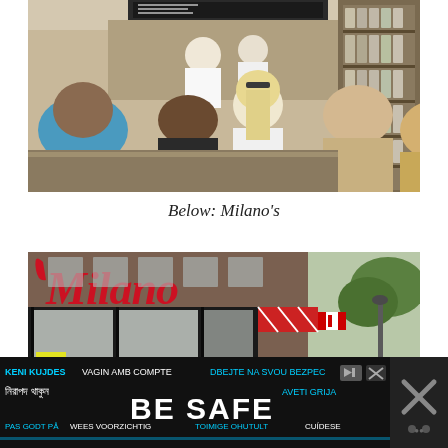[Figure (photo): Interior of a deli/bakery crowded with customers waiting in line; staff visible behind counter; shelves of products on right side; a blonde woman in white top prominent in center]
Below: Milano's
[Figure (photo): Exterior storefront of Milano's with large red cursive Milano's sign on dark facade; brick building visible; Canadian flag; trees; street scene]
[Figure (photo): Advertisement banner: BE SAFE multilingual safety ad with text in multiple languages: KENI KUJDES, VAGIN AMB COMPTE, DBEJTE NA SVOU BEZPEC..., Bengali script, AVETI GRIJA, PAS GODT PA, WEES VOORZICHTIG, TOIMIGE OHUTULT, CUIDESE]